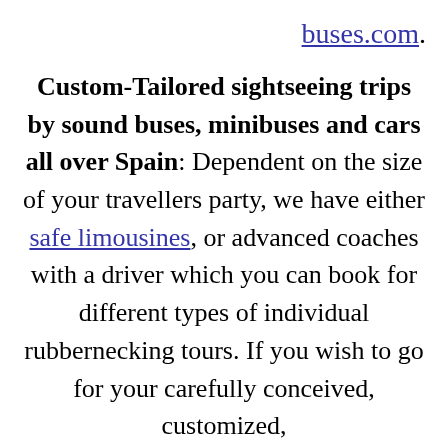buses.com.
Custom-Tailored sightseeing trips by sound buses, minibuses and cars all over Spain: Dependent on the size of your travellers party, we have either safe limousines, or advanced coaches with a driver which you can book for different types of individual rubbernecking tours. If you wish to go for your carefully conceived, customized,